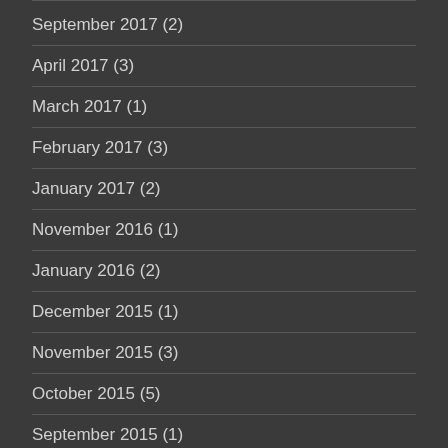September 2017 (2)
April 2017 (3)
March 2017 (1)
February 2017 (3)
January 2017 (2)
November 2016 (1)
January 2016 (2)
December 2015 (1)
November 2015 (3)
October 2015 (5)
September 2015 (1)
August 2015 (1)